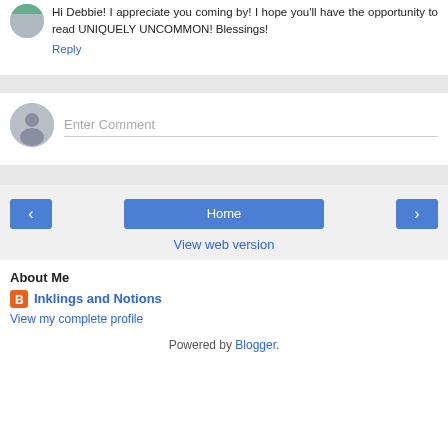Hi Debbie! I appreciate you coming by! I hope you'll have the opportunity to read UNIQUELY UNCOMMON! Blessings!
Reply
[Figure (other): Enter Comment input field with gray avatar icon]
[Figure (other): Navigation buttons: left arrow, Home, right arrow]
View web version
About Me
Inklings and Notions
View my complete profile
Powered by Blogger.